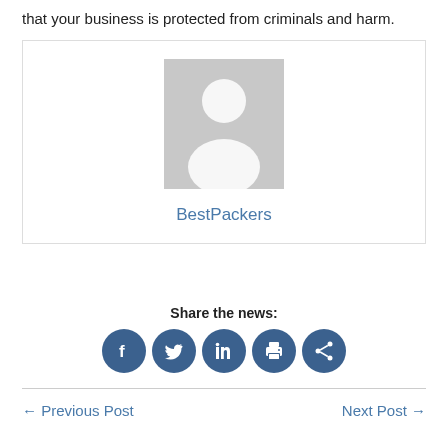that your business is protected from criminals and harm.
[Figure (photo): Author avatar placeholder with generic silhouette icon and name 'BestPackers' below]
Share the news:
[Figure (infographic): Row of five circular social sharing icons: Facebook, Twitter, LinkedIn, Print, Share]
← Previous Post
Next Post →